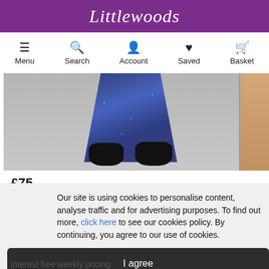Littlewoods
Menu Search Account Saved Basket
[Figure (photo): Product photo showing lower body of model wearing dark blue patterned maxi dress and black strap sandals on grey background. Partial image of another product visible on right edge.]
£75
Superdry
Our site is using cookies to personalise content, analyse traffic and for advertising purposes. To find out more, click here to see our cookies policy. By continuing, you agree to our use of cookies.
I agree
interest free weekly pricing.